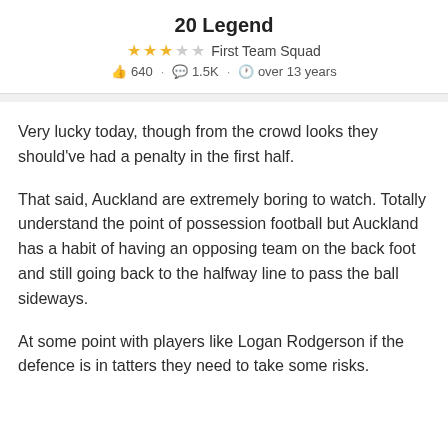20 Legend
★★★☆☆  First Team Squad
👍 640 · 💬 1.5K · 🕐 over 13 years
Very lucky today, though from the crowd looks they should've had a penalty in the first half.
That said, Auckland are extremely boring to watch. Totally understand the point of possession football but Auckland has a habit of having an opposing team on the back foot and still going back to the halfway line to pass the ball sideways.
At some point with players like Logan Rodgerson if the defence is in tatters they need to take some risks.